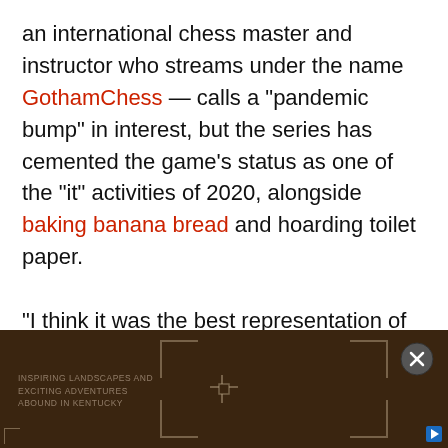an international chess master and instructor who streams under the name GothamChess — calls a "pandemic bump" in interest, but the series has cemented the game's status as one of the "it" activities of 2020, alongside baking banana bread and hoarding toilet paper.

"I think it was the best representation of chess that you could present to an audience that doesn't know, or doesn't really think about chess on a day-to-day basis," Rozman said. "I tried to make an effort to see it within the first week, first of all, to get some content out about
[Figure (screenshot): Dark brown wood-textured advertisement banner at the bottom of the page. Contains text 'INSPIRING LANDSCAPES AND EXCITING ADVENTURES ABOUND IN KENTUCKY' in faded uppercase letters, bracket corner decorations, a crosshair-style center icon, a circular close (X) button in the top right, and a small blue play button arrow in the bottom right corner.]